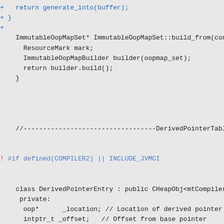Code diff showing ImmutableOopMapSet and DerivedPointerTable sections with diff markers (+, !, ---), including class definition, private members, and list operations. Shows deleted/added lines at lines 879,884 and 837,842.